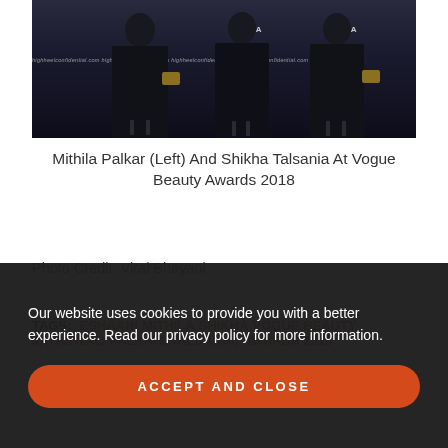[Figure (photo): Photo of people at Vogue Beauty Awards 2018, wearing black outfits, taken at night event with QATA logos visible and highheelconfidential.com watermark repeated across the bottom]
Mithila Palkar (Left) And Shikha Talsania At Vogue Beauty Awards 2018
Photo Credit: Viral Bhayani
TAGS: ESHAANI JAYASWAL, MITHILA PALKAR, SHIKHA TALSANIA, VOGUE BEAUTY AWARDS 2018
Our website uses cookies to provide you with a better experience. Read our privacy policy for more information.